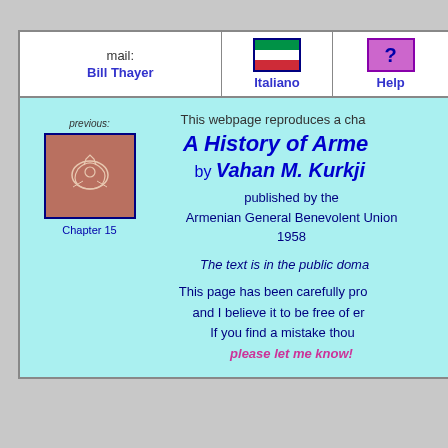| mail: Bill Thayer | Italiano | Help |
| --- | --- | --- |
This webpage reproduces a chapter of A History of Armenia by Vahan M. Kurkjian published by the Armenian General Benevolent Union 1958
[Figure (illustration): Small thumbnail image with reddish-brown background showing a decorative figure, labeled 'Chapter 15' underneath, with 'previous:' label above]
The text is in the public domain.
This page has been carefully proofread and I believe it to be free of errors. If you find a mistake though, please let me know!